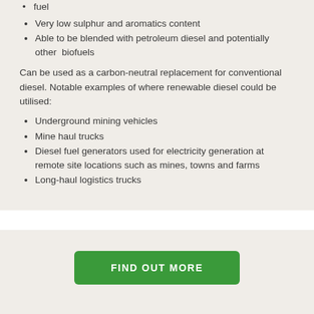fuel
Very low sulphur and aromatics content
Able to be blended with petroleum diesel and potentially other biofuels
Can be used as a carbon-neutral replacement for conventional diesel. Notable examples of where renewable diesel could be utilised:
Underground mining vehicles
Mine haul trucks
Diesel fuel generators used for electricity generation at remote site locations such as mines, towns and farms
Long-haul logistics trucks
FIND OUT MORE